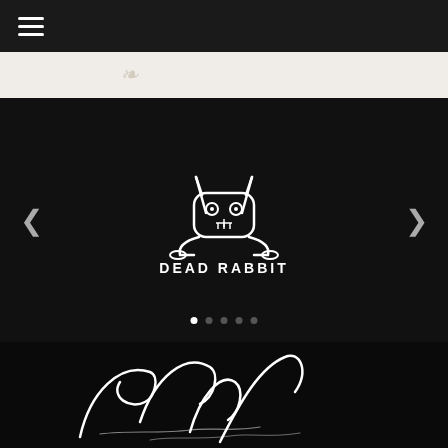☰ (hamburger menu)
[Figure (screenshot): Light beige banner area with faint italic text placeholder]
[Figure (logo): Dead Rabbit logo — stylized rabbit skull icon above text DEAD RABBIT in white on black background, with left and right navigation arrows and carousel dot indicators]
[Figure (illustration): Large decorative white calligraphic script lettering partially visible on black background at the bottom of the page]